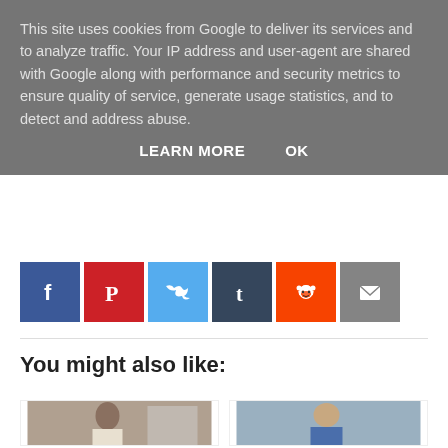This site uses cookies from Google to deliver its services and to analyze traffic. Your IP address and user-agent are shared with Google along with performance and security metrics to ensure quality of service, generate usage statistics, and to detect and address abuse.
LEARN MORE   OK
[Figure (infographic): Social sharing icons: Facebook (blue), Pinterest (red), Twitter (light blue), Tumblr (dark blue), Reddit (orange), Email (grey)]
You might also like:
[Figure (photo): Photo of a young woman with dark hair smiling, wearing a white and black outfit]
[Figure (photo): Photo of a man in a blue suit adjusting his tie]